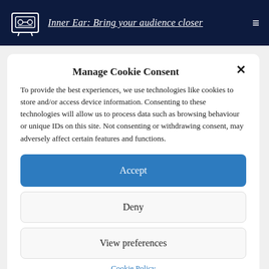Inner Ear: Bring your audience closer
Manage Cookie Consent
To provide the best experiences, we use technologies like cookies to store and/or access device information. Consenting to these technologies will allow us to process data such as browsing behaviour or unique IDs on this site. Not consenting or withdrawing consent, may adversely affect certain features and functions.
Accept
Deny
View preferences
Cookie Policy